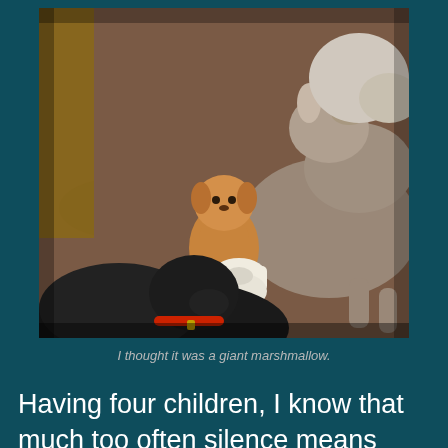[Figure (photo): Photo of dogs on a carpet/bed. A tan/brown puppy sits upright near a toilet paper roll in the center. A large grey/brown dog is lying in the background on the right. A black dog with a red collar is visible in the foreground. A yellow-green tennis ball is visible on the floor.]
I thought it was a giant marshmallow.
Having four children, I know that much too often silence means someone is up to no good. I've